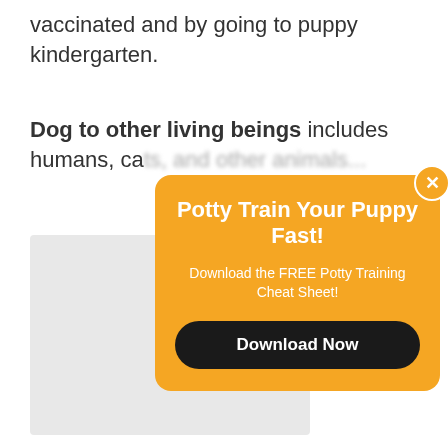vaccinated and by going to puppy kindergarten.
Dog to other living beings includes humans, cats, and other animals...
[Figure (other): Gray image placeholder rectangle]
[Figure (infographic): Popup overlay with orange background. Title: Potty Train Your Puppy Fast! Subtitle: Download the FREE Potty Training Cheat Sheet! Button: Download Now. Close button (X) in top right corner.]